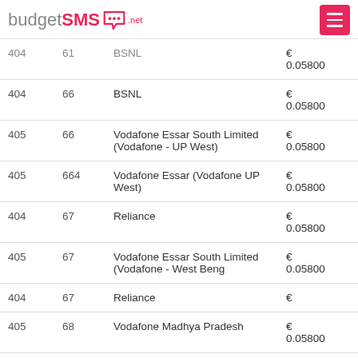budgetSMS.net
| MCC | MNC | Network | Price |
| --- | --- | --- | --- |
| 404 | 61 | BSNL | € 0.05800 |
| 404 | 66 | BSNL | € 0.05800 |
| 405 | 66 | Vodafone Essar South Limited (Vodafone - UP West) | € 0.05800 |
| 405 | 664 | Vodafone Essar (Vodafone UP West) | € 0.05800 |
| 404 | 67 | Reliance | € 0.05800 |
| 405 | 67 | Vodafone Essar South Limited (Vodafone - West Beng | € 0.05800 |
| 404 | 67 | Reliance | € |
| 405 | 68 | Vodafone Madhya Pradesh | € 0.05800 |